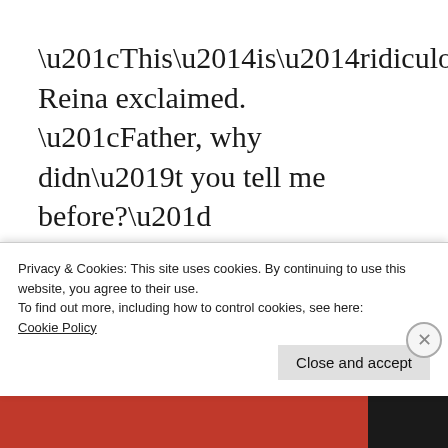“This—is—ridiculous!” Reina exclaimed. “Father, why didn’t you tell me before?”
“I did not want to worry you,” Shumneya replied. “Our techniques are too precious to hide, but they would be dangerous in the hands of
Privacy & Cookies: This site uses cookies. By continuing to use this website, you agree to their use.
To find out more, including how to control cookies, see here: Cookie Policy
Close and accept